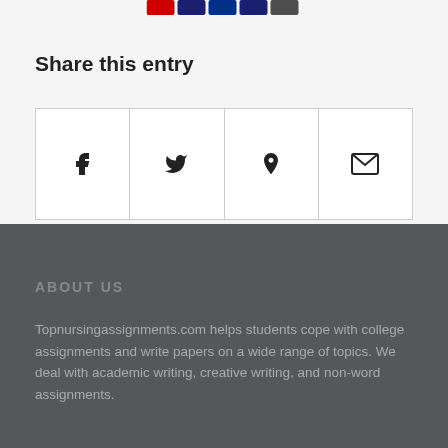[Figure (other): Payment card icons (credit/debit card logos) at top of page]
Share this entry
[Figure (other): Social share buttons row with Facebook (f), Twitter (bird), Pinterest (p), and Email (envelope) icons]
ABOUT US
Topnursingassignments.com helps students cope with college assignments and write papers on a wide range of topics. We deal with academic writing, creative writing, and non-word assignments.